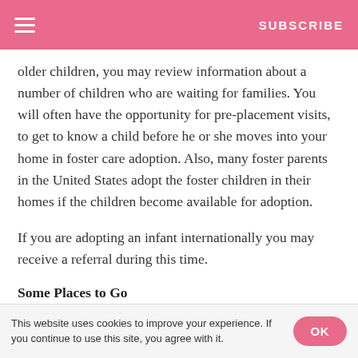SUBSCRIBE
older children, you may review information about a number of children who are waiting for families. You will often have the opportunity for pre-placement visits, to get to know a child before he or she moves into your home in foster care adoption. Also, many foster parents in the United States adopt the foster children in their homes if the children become available for adoption.
If you are adopting an infant internationally you may receive a referral during this time.
Some Places to Go
The Information Gateway factsheet, Obtaining Background
This website uses cookies to improve your experience. If you continue to use this site, you agree with it.